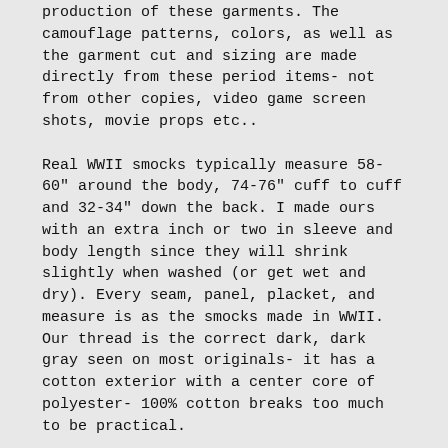production of these garments. The camouflage patterns, colors, as well as the garment cut and sizing are made directly from these period items- not from other copies, video game screen shots, movie props etc..
Real WWII smocks typically measure 58-60" around the body, 74-76" cuff to cuff and 32-34" down the back. I made ours with an extra inch or two in sleeve and body length since they will shrink slightly when washed (or get wet and dry). Every seam, panel, placket, and measure is as the smocks made in WWII. Our thread is the correct dark, dark gray seen on most originals- it has a cotton exterior with a center core of polyester- 100% cotton breaks too much to be practical.
Our fabric is not some random poplin we found at the textile auction- it was custom woven from a swatch of real period cloth with the fine yarn, and super tight tight weave (90 x 64) that helps it shed water. (No gap is visible between the fibers if you hold it up to a light- just like the real material.) For